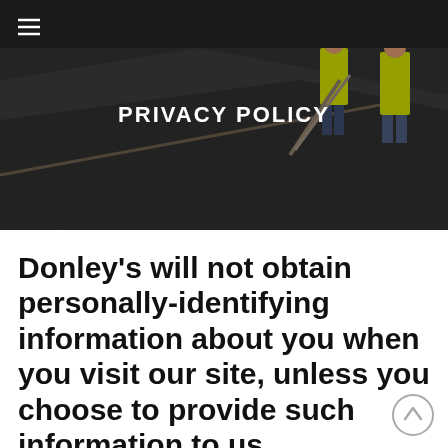[Figure (photo): Aerial view of construction workers in yellow high-visibility vests spreading asphalt/tarmac on a road surface, with tools.]
PRIVACY POLICY
Donley's will not obtain personally-identifying information about you when you visit our site, unless you choose to provide such information to us.